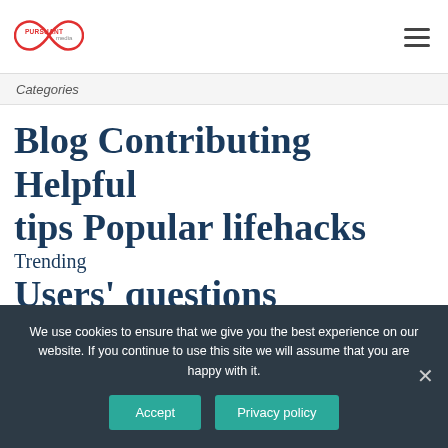[Figure (logo): Pursuant Media logo — infinity symbol with 'PURSUANT' in red and 'media' in gray text]
Categories
Blog Contributing Helpful tips Popular lifehacks Trending Users' questions
Pro-Papers saved
We use cookies to ensure that we give you the best experience on our website. If you continue to use this site we will assume that you are happy with it.
Accept
Privacy policy